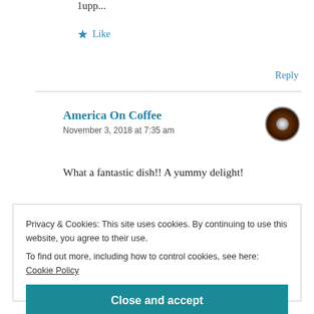1upp...
★ Like
Reply
America On Coffee
November 3, 2018 at 7:35 am
What a fantastic dish!! A yummy delight!
Privacy & Cookies: This site uses cookies. By continuing to use this website, you agree to their use.
To find out more, including how to control cookies, see here: Cookie Policy
Close and accept